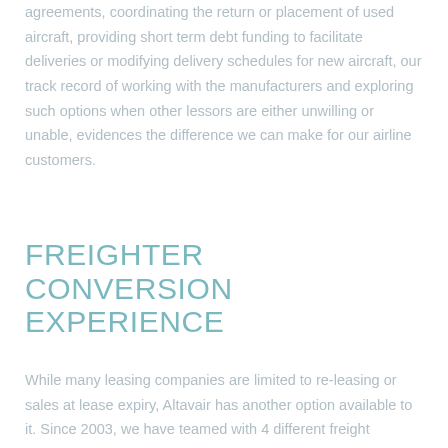agreements, coordinating the return or placement of used aircraft, providing short term debt funding to facilitate deliveries or modifying delivery schedules for new aircraft, our track record of working with the manufacturers and exploring such options when other lessors are either unwilling or unable, evidences the difference we can make for our airline customers.
FREIGHTER CONVERSION EXPERIENCE
While many leasing companies are limited to re-leasing or sales at lease expiry, Altavair has another option available to it. Since 2003, we have teamed with 4 different freight